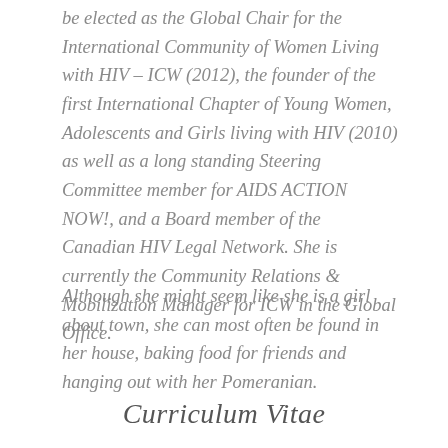be elected as the Global Chair for the International Community of Women Living with HIV – ICW (2012), the founder of the first International Chapter of Young Women, Adolescents and Girls living with HIV (2010) as well as a long standing Steering Committee member for AIDS ACTION NOW!, and a Board member of the Canadian HIV Legal Network. She is currently the Community Relations & Mobilization Manager for ICW in the Global Office.
Although she might seem like she is a girl about town, she can most often be found in her house, baking food for friends and hanging out with her Pomeranian.
Curriculum Vitae